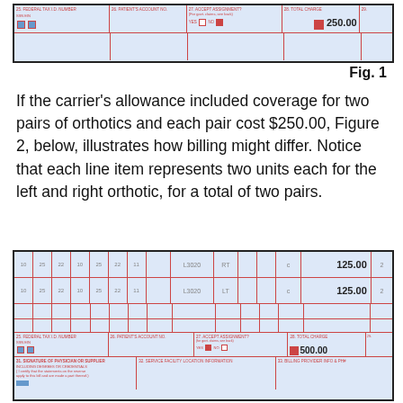[Figure (screenshot): CMS-1500 claim form snippet showing Federal Tax ID Number, Patient Account No, Accept Assignment checkbox (No checked), Total Charge of 250.00]
Fig. 1
If the carrier's allowance included coverage for two pairs of orthotics and each pair cost $250.00, Figure 2, below, illustrates how billing might differ. Notice that each line item represents two units each for the left and right orthotic, for a total of two pairs.
[Figure (screenshot): CMS-1500 claim form snippet showing two line items: first row L3020 RT 125.00 qty 2, second row L3020 LT 125.00 qty 2, total charge 500.00]